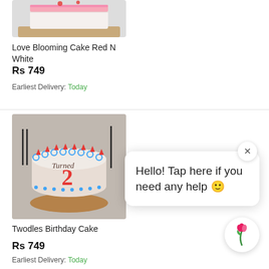[Figure (photo): Photo of Love Blooming Cake Red N White - square pink frosted cake on wooden board]
Love Blooming Cake Red N White
Rs 749
Earliest Delivery: Today
[Figure (photo): Photo of Twodles Birthday Cake - round white cake with red number 2 and blue scalloped border on wooden board]
Twodles Birthday Cake
Rs 749
Earliest Delivery: Today
[Figure (photo): Partial photo of another cake at bottom]
Hello! Tap here if you need any help 🙂